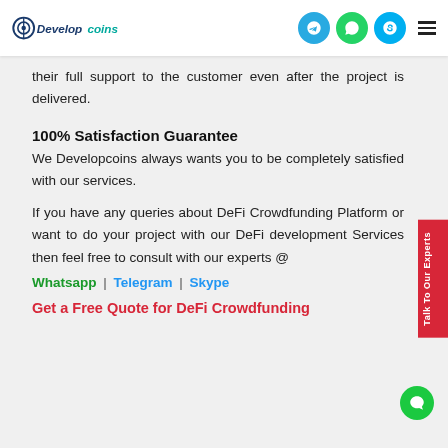Developcoins – header with logo and navigation icons
their full support to the customer even after the project is delivered.
100% Satisfaction Guarantee
We Developcoins always wants you to be completely satisfied with our services.
If you have any queries about DeFi Crowdfunding Platform or want to do your project with our DeFi development Services then feel free to consult with our experts @ Whatsapp | Telegram | Skype
Get a Free Quote for DeFi Crowdfunding